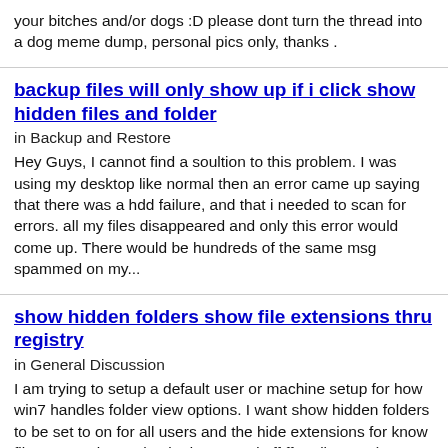your bitches and/or dogs :D please dont turn the thread into a dog meme dump, personal pics only, thanks .
backup files will only show up if i click show hidden files and folder
in Backup and Restore
Hey Guys, I cannot find a soultion to this problem. I was using my desktop like normal then an error came up saying that there was a hdd failure, and that i needed to scan for errors. all my files disappeared and only this error would come up. There would be hundreds of the same msg spammed on my...
show hidden folders show file extensions thru registry
in General Discussion
I am trying to setup a default user or machine setup for how win7 handles folder view options. I want show hidden folders to be set to on for all users and the hide extensions for know file types to be unchecked or turned off ffor all users (so extensions show) I have located